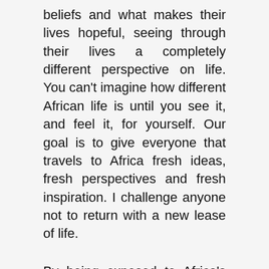beliefs and what makes their lives hopeful, seeing through their lives a completely different perspective on life. You can't imagine how different African life is until you see it, and feel it, for yourself. Our goal is to give everyone that travels to Africa fresh ideas, fresh perspectives and fresh inspiration. I challenge anyone not to return with a new lease of life.

By being exposed to Africa's diversity of people, cultures, landscapes and lifestyles, everyone who visits develops a wider, richer view of the world. This also provides all of us a huge opportunity to not just learn from the way of life but also to give back. Tourism sustains livelihoods throughout the continent. As a family, we feel strongly about preserving and protecting our homeland and those